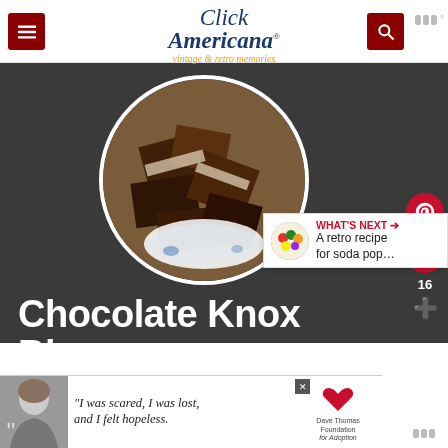Click Americana — vintage & retro memories
[Figure (photo): Circular photo of chocolate Knox Blox fudge squares on a blue and white decorative plate]
Chocolate Knox Blox
yield: 64 one-inch squares
[Figure (infographic): What's Next panel showing a retro recipe for soda pop with colorful candy image]
[Figure (photo): Dave Thomas Foundation for Adoption advertisement with quote 'I was scared, I was lost, and I felt hopeless.']